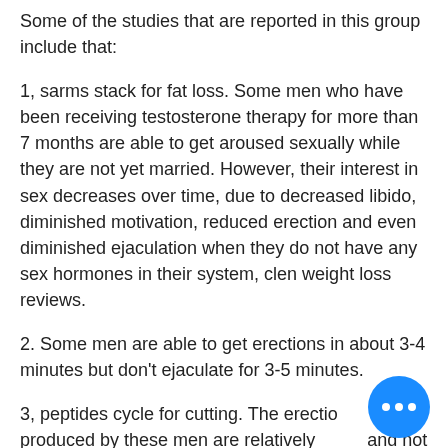Some of the studies that are reported in this group include that:
1, sarms stack for fat loss. Some men who have been receiving testosterone therapy for more than 7 months are able to get aroused sexually while they are not yet married. However, their interest in sex decreases over time, due to decreased libido, diminished motivation, reduced erection and even diminished ejaculation when they do not have any sex hormones in their system, clen weight loss reviews.
2. Some men are able to get erections in about 3-4 minutes but don't ejaculate for 3-5 minutes.
3, peptides cycle for cutting. The erections produced by these men are relatively and not quite erections.